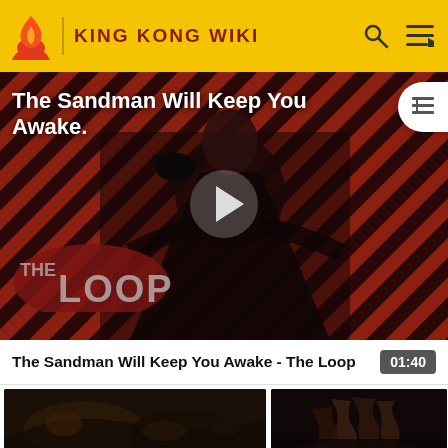KING KONG WIKI
[Figure (screenshot): Video player showing 'The Sandman Will Keep You Awake - The Loop' with a play button overlay, dark figure in front of diagonal striped red/black background, The Loop logo bottom left, table-of-contents button top right]
The Sandman Will Keep You Awake - The Loop 01:40
[Figure (photo): Dark scene thumbnail showing creatures or monsters]
[Figure (photo): Dark scene thumbnail right side showing hands or claws]
[Figure (photo): Dark scene thumbnail bottom left]
Lumpy is devoured by a whole group of Carnistis